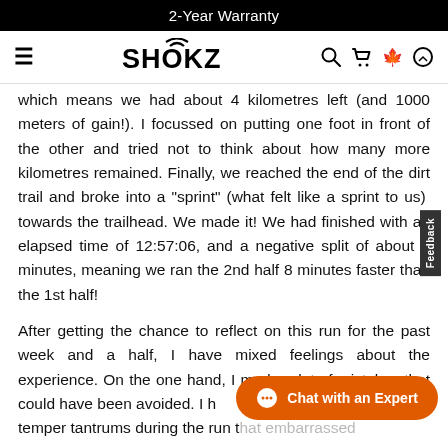2-Year Warranty
[Figure (logo): SHOKZ logo with navigation icons including hamburger menu, search, cart, Canadian flag, and profile icon]
which means we had about 4 kilometres left (and 1000 meters of gain!). I focussed on putting one foot in front of the other and tried not to think about how many more kilometres remained. Finally, we reached the end of the dirt trail and broke into a "sprint" (what felt like a sprint to us) towards the trailhead. We made it! We had finished with an elapsed time of 12:57:06, and a negative split of about 8 minutes, meaning we ran the 2nd half 8 minutes faster than the 1st half!
After getting the chance to reflect on this run for the past week and a half, I have mixed feelings about the experience. On the one hand, I made a lot of mistakes that could have been avoided. I had some serious temper tantrums during the run that...